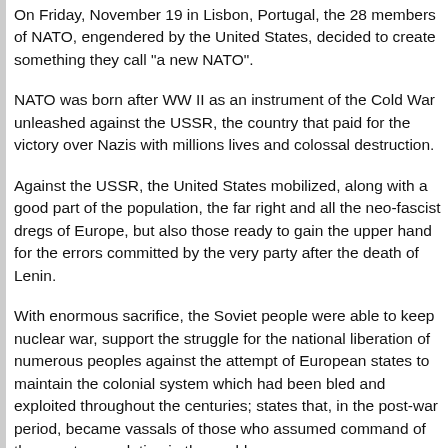On Friday, November 19 in Lisbon, Portugal, the 28 members of NATO, engendered by the United States, decided to create something they call "a new NATO".
NATO was born after WW II as an instrument of the Cold War unleashed against the USSR, the country that paid for the victory over Nazis with millions lives and colossal destruction.
Against the USSR, the United States mobilized, along with a good part of the population, the far right and all the neo-fascist dregs of Europe, but also those ready to gain the upper hand for the errors committed by the very party after the death of Lenin.
With enormous sacrifice, the Soviet people were able to keep nuclear war, support the struggle for the national liberation of numerous peoples against the attempt of European states to maintain the colonial system which had been bled and exploited throughout the centuries; states that, in the post-war period, became vassals of those who assumed command of the counter-revolution in the world.
In just 10 days -less than two weeks -world opinion has received three unforgettable lessons: G-20, APEC and NATO, in Seoul, Yokohama and Lisbon, in a way that all honest persons who can read and write and whose m